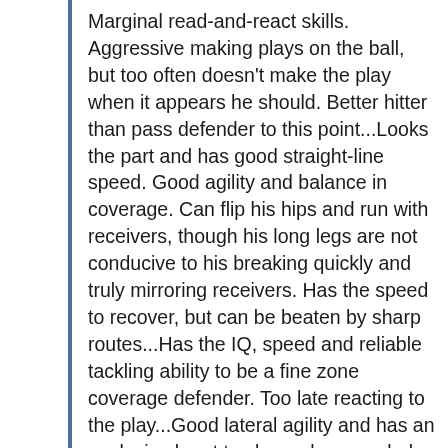Marginal read-and-react skills. Aggressive making plays on the ball, but too often doesn't make the play when it appears he should. Better hitter than pass defender to this point...Looks the part and has good straight-line speed. Good agility and balance in coverage. Can flip his hips and run with receivers, though his long legs are not conducive to his breaking quickly and truly mirroring receivers. Has the speed to recover, but can be beaten by sharp routes...Has the IQ, speed and reliable tackling ability to be a fine zone coverage defender. Too late reacting to the play...Good lateral agility and has an explosive burst to close when needed. Competes as the ball arrives and has the long arms and quick hands to knock passes away before a receiver can secure it. Times his leaps well to compete against bigger receivers... Aggressive in run support. Quickly gets through receiver blocks and is willing to stick his